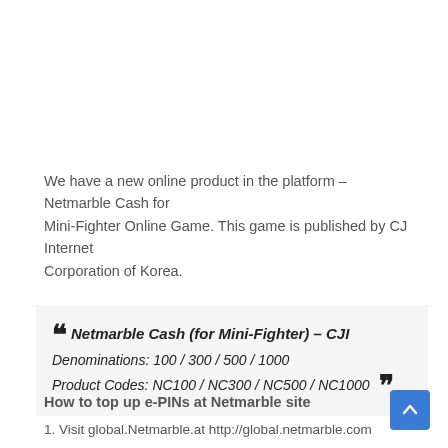We have a new online product in the platform – Netmarble Cash for Mini-Fighter Online Game. This game is published by CJ Internet Corporation of Korea.
" Netmarble Cash (for Mini-Fighter) – CJI Denominations: 100 / 300 / 500 / 1000 Product Codes: NC100 / NC300 / NC500 / NC1000 "
How to top up e-PINs at Netmarble site
1. Visit global.Netmarble.at http://global.netmarble.com